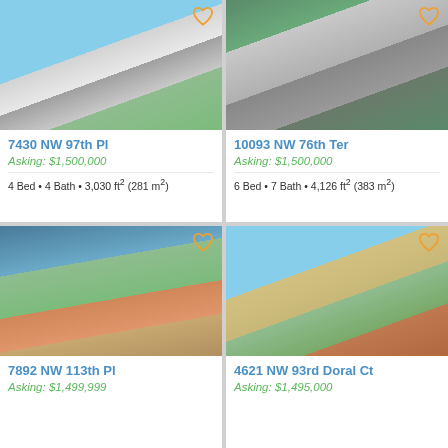[Figure (photo): Aerial/street view of modern white townhouse with garage, blue sky background]
7430 NW 97th Pl
Asking: $1,500,000
4 Bed • 4 Bath • 3,030 ft² (281 m²)
[Figure (photo): Modern dark-facade home with double garage and two SUVs parked in driveway]
10093 NW 76th Ter
Asking: $1,500,000
6 Bed • 7 Bath • 4,126 ft² (383 m²)
[Figure (photo): Aerial drone view of Mediterranean-style homes with red tile roofs near a lake]
7892 NW 113th Pl
Asking: $1,499,999
[Figure (photo): Street-level view of large Mediterranean estate home with paved driveway and lush landscaping]
4621 NW 93rd Doral Ct
Asking: $1,495,000